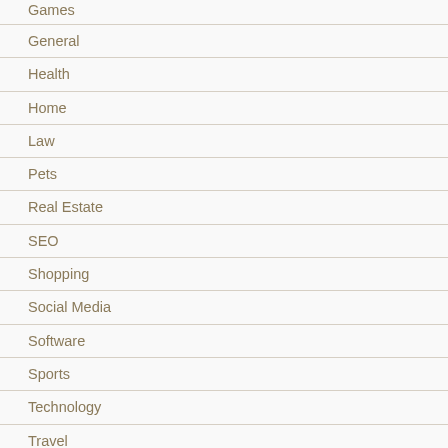Games
General
Health
Home
Law
Pets
Real Estate
SEO
Shopping
Social Media
Software
Sports
Technology
Travel